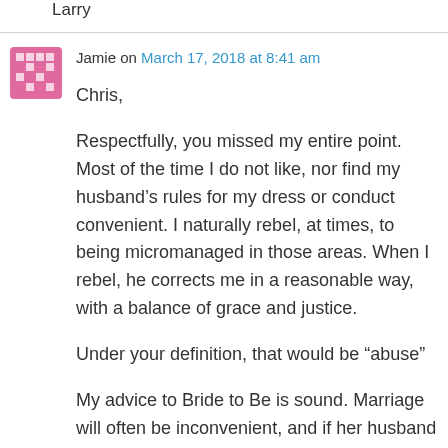Larry
Jamie on March 17, 2018 at 8:41 am
Chris,

Respectfully, you missed my entire point. Most of the time I do not like, nor find my husband’s rules for my dress or conduct convenient. I naturally rebel, at times, to being micromanaged in those areas. When I rebel, he corrects me in a reasonable way, with a balance of grace and justice.

Under your definition, that would be “abuse”

My advice to Bride to Be is sound. Marriage will often be inconvenient, and if her husband is like